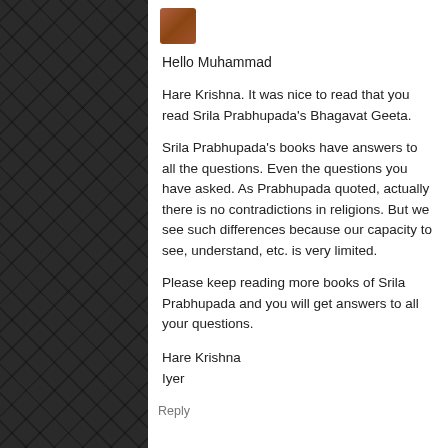[Figure (photo): Small avatar/profile photo thumbnail in top-left corner of comment card]
Hello Muhammad
Hare Krishna. It was nice to read that you read Srila Prabhupada's Bhagavat Geeta.
Srila Prabhupada's books have answers to all the questions. Even the questions you have asked. As Prabhupada quoted, actually there is no contradictions in religions. But we see such differences because our capacity to see, understand, etc. is very limited.
Please keep reading more books of Srila Prabhupada and you will get answers to all your questions.
Hare Krishna
Iyer
Reply